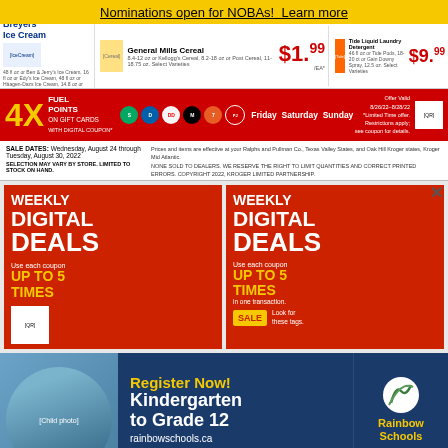Nominations open for NOBAs!  Learn more
[Figure (photo): Kroger grocery store advertisement showing Breyers Ice Cream, General Mills Cereal, and Tide Liquid Laundry Detergent with prices]
[Figure (infographic): 4X Fuel Points on Gift Cards with Digital Coupon, valid Friday Saturday Sunday 8/26/22-8/28/22, with brand logos including Starbucks, Dominos, DoorDash, Disney, 7-Eleven, PapaJohns, and a QR code]
SALE DATES: Wednesday, August 24 through Tuesday, August 30, 2022
SELECTION MAY VARY BY STORE. LIMITED TO STOCK ON HAND.
Prices and items are effective at your Ralphs and Pullman Co., Texas Valley States, and Oak Hill Kroger states, Kroger Mid Atlantic. NONE SOLD TO DEALERS. WE RESERVE THE RIGHT TO LIMIT QUANTITIES AND CORRECT PRINTED ERRORS. COPYRIGHT 2022, KROGER LIMITED PARTNERSHIP.
[Figure (infographic): Red promotional card: WEEKLY DIGITAL DEALS - Use each coupon UP TO 5 TIMES with QR code]
[Figure (infographic): Red promotional card: WEEKLY DIGITAL DEALS - Use each coupon UP TO 5 TIMES in one transaction. SALE tag. Look for these tags.]
[Figure (photo): Rainbow Schools advertisement: Register Now! Kindergarten to Grade 12, rainbowschools.ca - showing a child with Rainbow Schools logo]